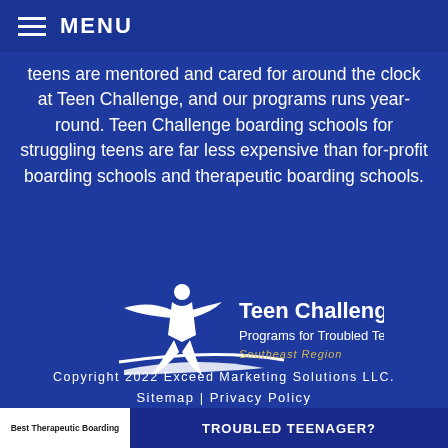MENU
teens are mentored and cared for around the clock at Teen Challenge, and our programs runs year-round. Teen Challenge boarding schools for struggling teens are far less expensive than for-profit boarding schools and therapeutic boarding schools.
[Figure (logo): Teen Challenge Schools logo with a jumping figure, text 'Teen Challenge Schools', 'Programs for Troubled Teens', 'Southeast Region' in gold]
Copyright 2022 Exceed Marketing Solutions LLC.
Sitemap | Privacy Policy
Best Therapeutic Boarding | TROUBLED TEENAGER?